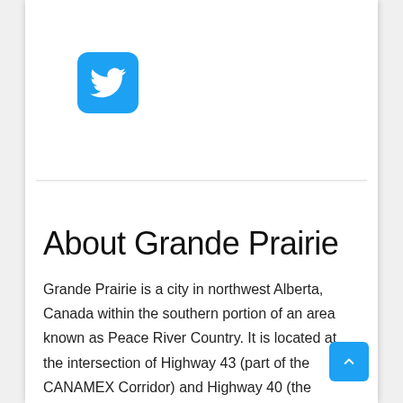[Figure (logo): Twitter bird logo on a blue rounded square background]
About Grande Prairie
Grande Prairie is a city in northwest Alberta, Canada within the southern portion of an area known as Peace River Country. It is located at the intersection of Highway 43 (part of the CANAMEX Corridor) and Highway 40 (the Bighorn Highway), approximately 456 km (283 mi) northwest of Edmonton. The city is